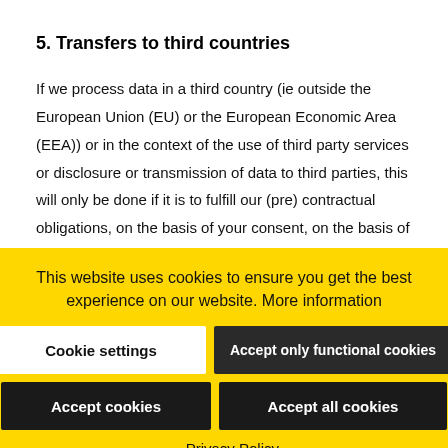5. Transfers to third countries
If we process data in a third country (ie outside the European Union (EU) or the European Economic Area (EEA)) or in the context of the use of third party services or disclosure or transmission of data to third parties, this will only be done if it is to fulfill our (pre) contractual obligations, on the basis of your consent, on the basis of a legal obligation, on the basis of legitimate interests. Subject to legal
This website uses cookies to ensure you get the best experience on our website. More information
Cookie settings
Accept only functional cookies
Accept cookies
Accept all cookies
– Privacy Policy